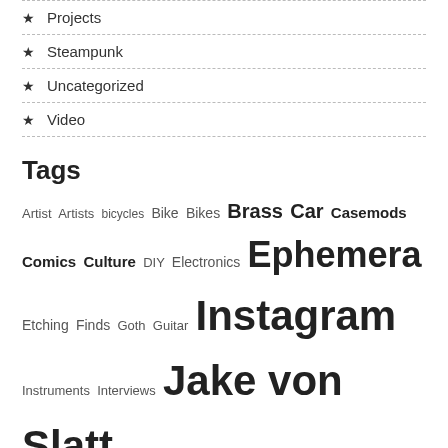Projects
Steampunk
Uncategorized
Video
Tags
Artist Artists bicycles Bike Bikes Brass Car Casemods Comics Culture DIY Electronics Ephemera Etching Finds Goth Guitar Instagram Instruments Interviews Jake von Slatt Jigsaw Renaissance Kerosene Lamps Keyboards Labs Projects Lamps Libby Bulloff make make magazine maker makers Meredith Scheff Mods Monitors Photography Project Science sculpture Steam Sub-culture Tools Upcycling Vehicles